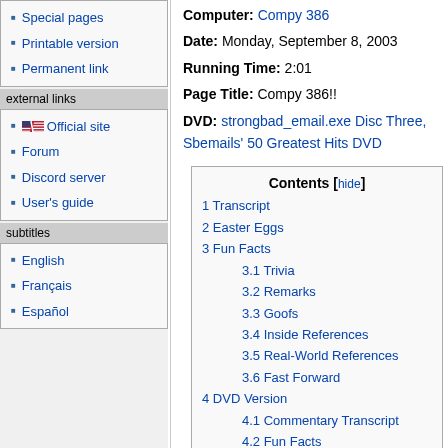Special pages
Printable version
Permanent link
external links
Official site
Forum
Discord server
User's guide
subtitles
English
Français
Español
Computer: Compy 386
Date: Monday, September 8, 2003
Running Time: 2:01
Page Title: Compy 386!!
DVD: strongbad_email.exe Disc Three, Sbemails' 50 Greatest Hits DVD
Contents [hide]
1 Transcript
2 Easter Eggs
3 Fun Facts
3.1 Trivia
3.2 Remarks
3.3 Goofs
3.4 Inside References
3.5 Real-World References
3.6 Fast Forward
4 DVD Version
4.1 Commentary Transcript
4.2 Fun Facts
5 External links